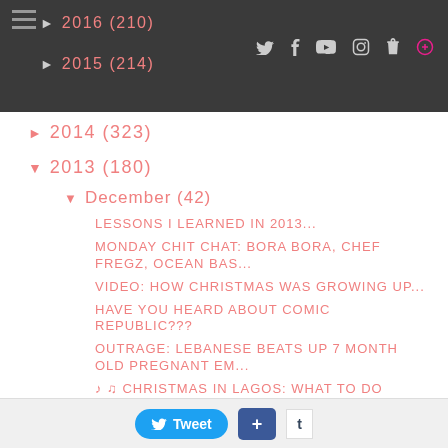2016 (210) | 2015 (214)
► 2014 (323)
▼ 2013 (180)
▼ December (42)
LESSONS I LEARNED IN 2013...
MONDAY CHIT CHAT: BORA BORA, CHEF FREGZ, OCEAN BAS...
VIDEO: HOW CHRISTMAS WAS GROWING UP...
HAVE YOU HEARD ABOUT COMIC REPUBLIC???
OUTRAGE: LEBANESE BEATS UP 7 MONTH OLD PREGNANT EM...
♩ ♫ CHRISTMAS IN LAGOS: WHAT TO DO